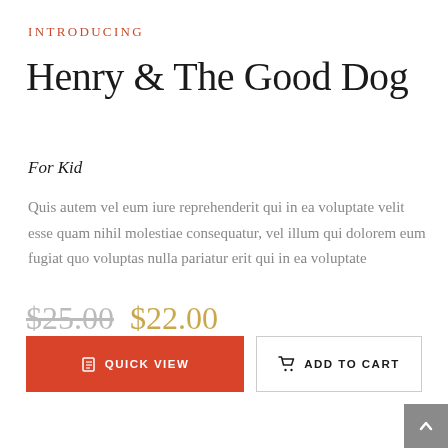INTRODUCING
Henry & The Good Dog
For Kid
Quis autem vel eum iure reprehenderit qui in ea voluptate velit esse quam nihil molestiae consequatur, vel illum qui dolorem eum fugiat quo voluptas nulla pariatur erit qui in ea voluptate
$25.00  $22.00
QUICK VIEW    ADD TO CART